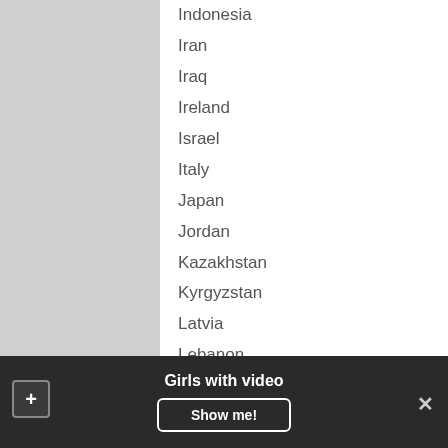Indonesia
Iran
Iraq
Ireland
Israel
Italy
Japan
Jordan
Kazakhstan
Kyrgyzstan
Latvia
Lebanon
Liechtenstein
Lithuania
Luxembourg
Macedonia
Mexico
Moldova
Girls with video
Show me!